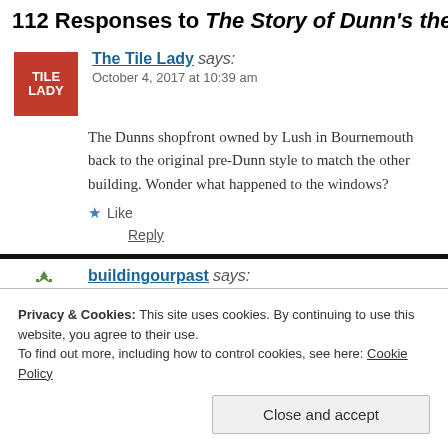112 Responses to The Story of Dunn's the
The Tile Lady says:
October 4, 2017 at 10:39 am
The Dunns shopfront owned by Lush in Bournemouth back to the original pre-Dunn style to match the other building. Wonder what happened to the windows?
Like
Reply
buildingourpast says:
Privacy & Cookies: This site uses cookies. By continuing to use this website, you agree to their use.
To find out more, including how to control cookies, see here: Cookie Policy
Close and accept